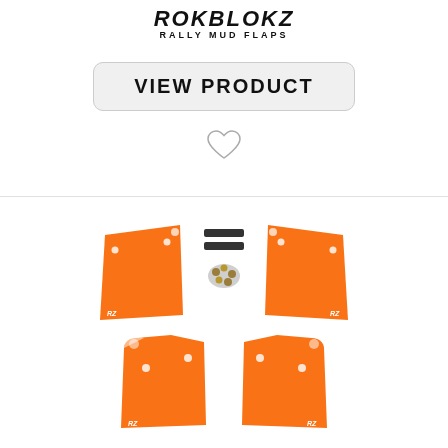[Figure (logo): Rokblokz Rally Mud Flaps logo with stylized bold italic text and tagline]
[Figure (illustration): Button labeled VIEW PRODUCT with rounded rectangle border]
[Figure (illustration): Heart/favorite icon outline]
[Figure (photo): Four orange mud flaps with mounting hardware (two top-view with brackets and bolts, two bottom-view plain), each with small Rokblokz logo in corner]